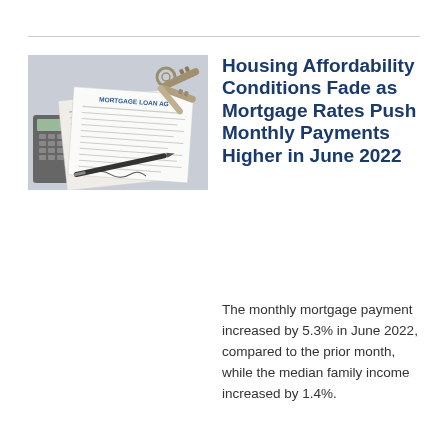[Figure (photo): Photo of mortgage loan documents, house keys on a key ring, a calculator, and a pen on a desk — representing housing finance and mortgage topics.]
Housing Affordability Conditions Fade as Mortgage Rates Push Monthly Payments Higher in June 2022
The monthly mortgage payment increased by 5.3% in June 2022, compared to the prior month, while the median family income increased by 1.4%.